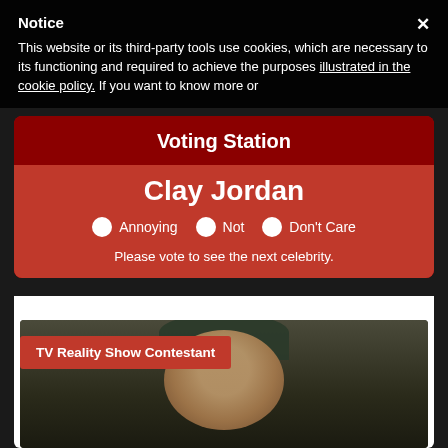Notice
This website or its third-party tools use cookies, which are necessary to its functioning and required to achieve the purposes illustrated in the cookie policy. If you want to know more or
Voting Station
Clay Jordan
Annoying   Not   Don't Care
Please vote to see the next celebrity.
TV Reality Show Contestant
[Figure (photo): Photo of Clay Jordan, a TV Reality Show Contestant, an older person wearing glasses and a hat]